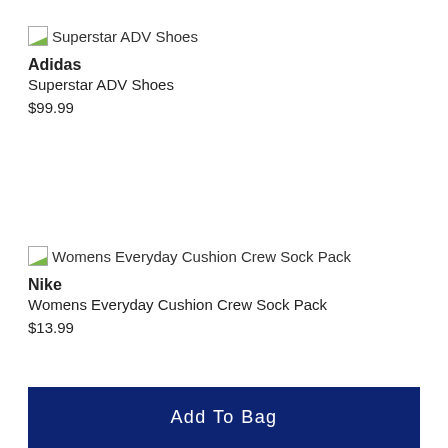[Figure (photo): Broken image placeholder for Superstar ADV Shoes]
Adidas
Superstar ADV Shoes
$99.99
[Figure (photo): Broken image placeholder for Womens Everyday Cushion Crew Sock Pack]
Nike
Womens Everyday Cushion Crew Sock Pack
$13.99
Add To Bag